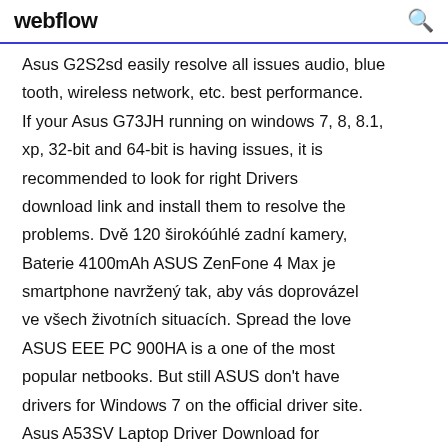webflow
Asus G2S2sd easily resolve all issues audio, bluetooth, wireless network, etc. best performance. If your Asus G73JH running on windows 7, 8, 8.1, xp, 32-bit and 64-bit is having issues, it is recommended to look for right Drivers download link and install them to resolve the problems. Dvě 120 širokóúhlé zadní kamery, Baterie 4100mAh ASUS ZenFone 4 Max je smartphone navržený tak, aby vás doprovázel ve všech životních situacích. Spread the love ASUS EEE PC 900HA is a one of the most popular netbooks. But still ASUS don't have drivers for Windows 7 on the official driver site. Asus A53SV Laptop Driver Download for Windows 7,8.1https://driverbasket.com/asus-